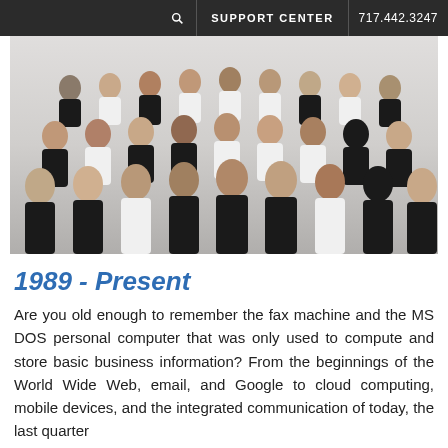🔍  SUPPORT CENTER  717.442.3247
[Figure (photo): Group photo of approximately 35 employees dressed in formal black and white attire, posing in multiple rows against a light gray background.]
1989 - Present
Are you old enough to remember the fax machine and the MS DOS personal computer that was only used to compute and store basic business information? From the beginnings of the World Wide Web, email, and Google to cloud computing, mobile devices, and the integrated communication of today, the last quarter